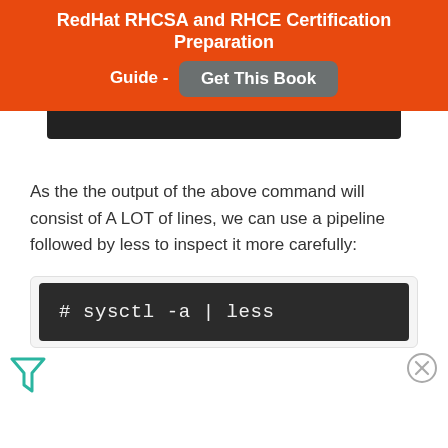RedHat RHCSA and RHCE Certification Preparation Guide - Get This Book
As the the output of the above command will consist of A LOT of lines, we can use a pipeline followed by less to inspect it more carefully:
[Figure (screenshot): Code block showing terminal command: # sysctl -a | less]